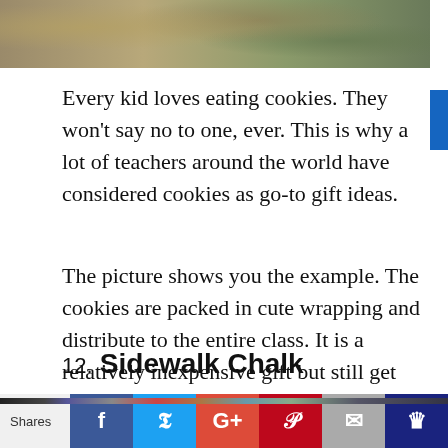[Figure (photo): Top portion of an image showing cookies wrapped in packaging, partially cropped]
Every kid loves eating cookies. They won't say no to one, ever. This is why a lot of teachers around the world have considered cookies as go-to gift ideas.
The picture shows you the example. The cookies are packed in cute wrapping and distribute to the entire class. It is a relatively inexpensive gift but still get everyone excited.
12. Sidewalk Chalk
[Figure (photo): Bottom portion showing beginning of next section image with sidewalk chalk]
Shares [Facebook] [Twitter] [Google+] [Pinterest] [Email] [Crown]